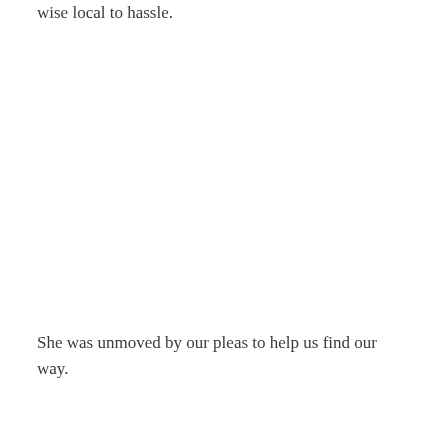wise local to hassle.
She was unmoved by our pleas to help us find our way.